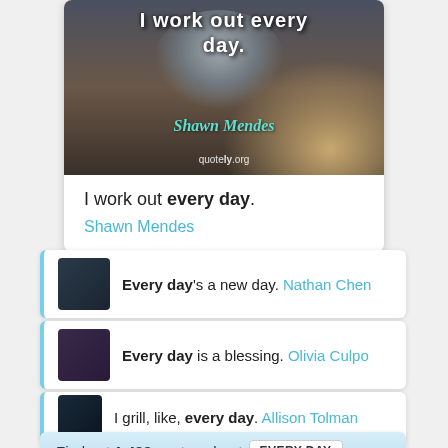[Figure (illustration): Quote image with cat on a chair, text overlay reading 'I work out every day.' with Shawn Mendes attribution and quotely.org watermark]
I work out every day.
Shawn Mendes
Every day's a new day. Nathan Chen
Every day is a blessing. Olivia Culpo
I grill, like, every day. Allison Tolman
Find out 1,499 quotes about EVERY DAY